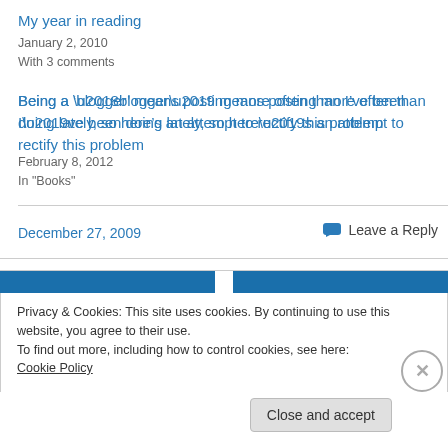My year in reading
January 2, 2010
With 3 comments
Being a ‘blogger’ means posting more often than I’ve been doing lately, so here’s an attempt to rectify this problem
February 8, 2012
In "Books"
December 27, 2009
💬 Leave a Reply
Privacy & Cookies: This site uses cookies. By continuing to use this website, you agree to their use.
To find out more, including how to control cookies, see here: Cookie Policy
Close and accept